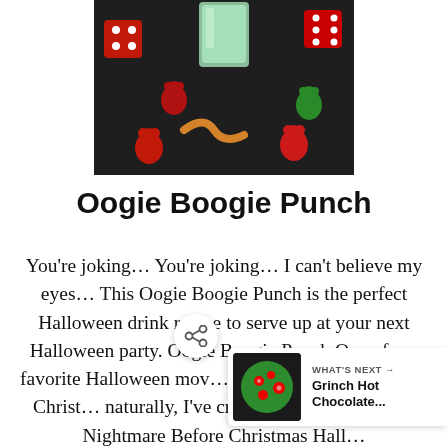[Figure (photo): A green punch drink in a glass surrounded by colorful gummy candies on a dark background]
Oogie Boogie Punch
You're joking… You're joking… I can't believe my eyes… This Oogie Boogie Punch is the perfect Halloween drink recipe to serve up at your next Halloween party. Oogie Boogie Punch One of my favorite Halloween mov… is The Nightmare Before Christ… naturally, I've created all sorts of fun … Nightmare Before Christmas Hall…